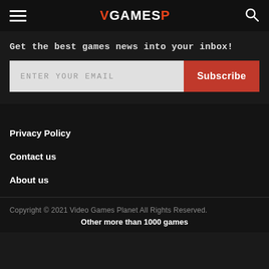VGameSP — navigation header with hamburger menu and search icon
Get the best games news into your inbox!
ENTER YOUR EMAIL
Subscribe
Privacy Policy
Contact us
About us
Copyright © 2021 Video Games Planet All Rights Reserved.
Other more than 1000 games